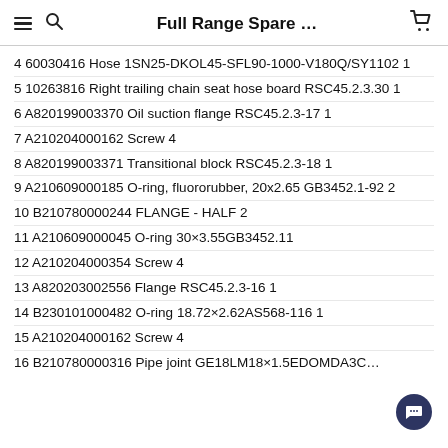Full Range Spare …
4 60030416 Hose 1SN25-DKOL45-SFL90-1000-V180Q/SY1102 1
5 10263816 Right trailing chain seat hose board RSC45.2.3.30 1
6 A820199003370 Oil suction flange RSC45.2.3-17 1
7 A210204000162 Screw 4
8 A820199003371 Transitional block RSC45.2.3-18 1
9 A210609000185 O-ring, fluororubber, 20x2.65 GB3452.1-92 2
10 B210780000244 FLANGE - HALF 2
11 A210609000045 O-ring 30×3.55GB3452.1 1
12 A210204000354 Screw 4
13 A820203002556 Flange RSC45.2.3-16 1
14 B230101000482 O-ring 18.72×2.62AS568-116 1
15 A210204000162 Screw 4
16 B210780000316 Pipe joint GE18LM18×1.5EDOMDA3C…